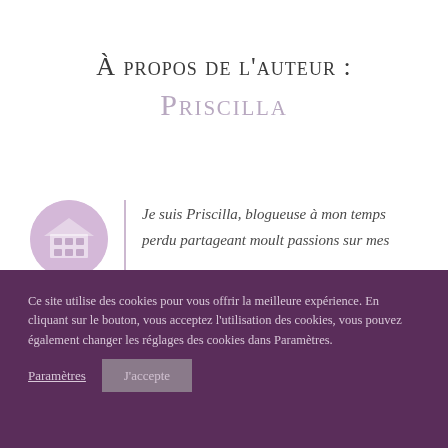À propos de l'auteur : Priscilla
Je suis Priscilla, blogueuse à mon temps perdu partageant moult passions sur mes
Ce site utilise des cookies pour vous offrir la meilleure expérience. En cliquant sur le bouton, vous acceptez l'utilisation des cookies, vous pouvez également changer les réglages des cookies dans Paramètres.
Paramètres   J'accepte